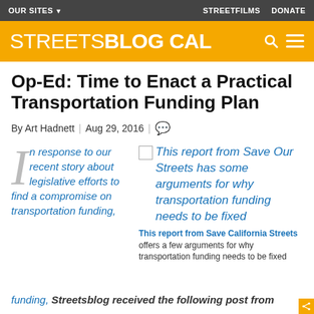OUR SITES ▾  STREETFILMS  DONATE
STREETSBLOG CAL
Op-Ed: Time to Enact a Practical Transportation Funding Plan
By Art Hadnett | Aug 29, 2016 | 💬
In response to our recent story about legislative efforts to find a compromise on transportation funding,
[Figure (other): Thumbnail image placeholder for Save Our Streets report]
This report from Save Our Streets has some arguments for why transportation funding needs to be fixed
This report from Save California Streets offers a few arguments for why transportation funding needs to be fixed
Streetsblog received the following post from